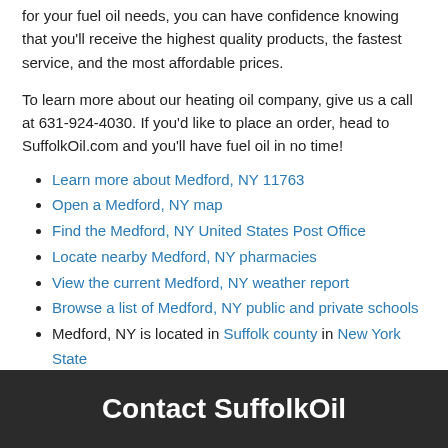for your fuel oil needs, you can have confidence knowing that you'll receive the highest quality products, the fastest service, and the most affordable prices.
To learn more about our heating oil company, give us a call at 631-924-4030. If you'd like to place an order, head to SuffolkOil.com and you'll have fuel oil in no time!
Learn more about Medford, NY 11763
Open a Medford, NY map
Find the Medford, NY United States Post Office
Locate nearby Medford, NY pharmacies
View the current Medford, NY weather report
Browse a list of Medford, NY public and private schools
Medford, NY is located in Suffolk county in New York State
Contact SuffolkOil